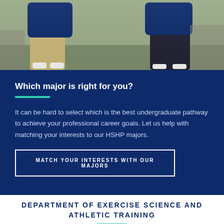[Figure (photo): Two people in athletic wear stretching or exercising outdoors, wearing navy blue shirts]
Which major is right for you?
It can be hard to select which is the best undergraduate pathway to achieve your professional career goals. Let us help with matching your interests to our HSHP majors.
MATCH YOUR INTERESTS WITH OUR MAJORS
DEPARTMENT OF EXERCISE SCIENCE AND ATHLETIC TRAINING